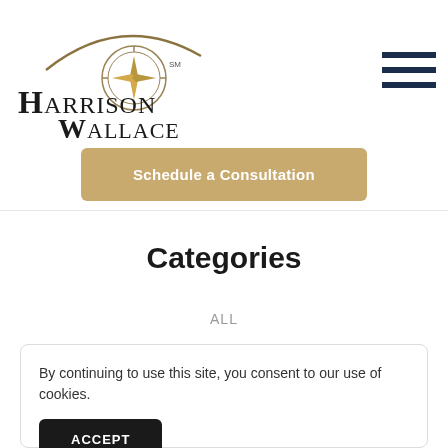[Figure (logo): Harrison Wallace law firm logo with compass rose emblem and arc above text]
[Figure (other): Hamburger menu icon — three dark navy horizontal bars]
Schedule a Consultation
Categories
ALL
By continuing to use this site, you consent to our use of cookies.
ACCEPT